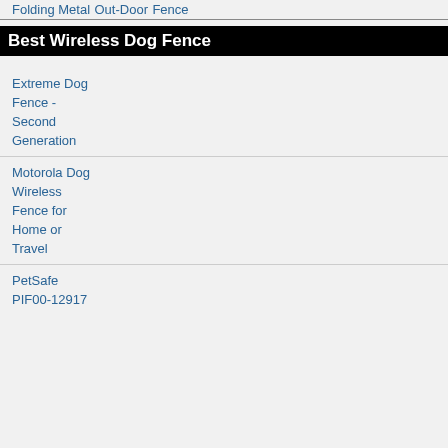Folding Metal
Out-Door
Fence
Best Wireless Dog Fence
Extreme Dog Fence - Second Generation
Motorola Dog Wireless Fence for Home or Travel
PetSafe PIF00-12917